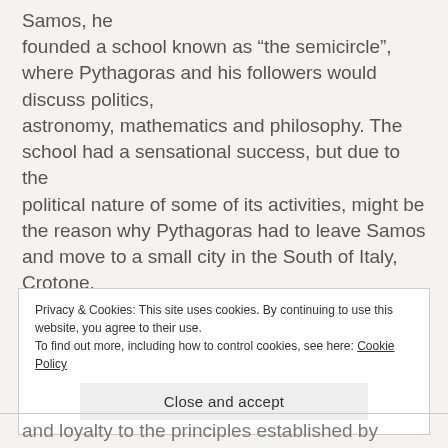Samos, he founded a school known as “the semicircle”, where Pythagoras and his followers would discuss politics, astronomy, mathematics and philosophy. The school had a sensational success, but due to the political nature of some of its activities, might be the reason why Pythagoras had to leave Samos and move to a small city in the South of Italy, Crotone. There, he founded a philosophical and religious
Privacy & Cookies: This site uses cookies. By continuing to use this website, you agree to their use. To find out more, including how to control cookies, see here: Cookie Policy
Close and accept
and loyalty to the principles established by